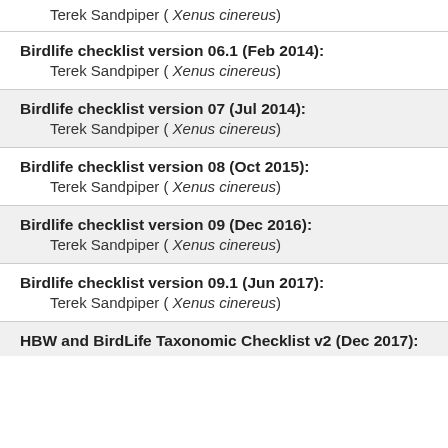Terek Sandpiper ( Xenus cinereus)
Birdlife checklist version 06.1 (Feb 2014):
Terek Sandpiper ( Xenus cinereus)
Birdlife checklist version 07 (Jul 2014):
Terek Sandpiper ( Xenus cinereus)
Birdlife checklist version 08 (Oct 2015):
Terek Sandpiper ( Xenus cinereus)
Birdlife checklist version 09 (Dec 2016):
Terek Sandpiper ( Xenus cinereus)
Birdlife checklist version 09.1 (Jun 2017):
Terek Sandpiper ( Xenus cinereus)
HBW and BirdLife Taxonomic Checklist v2 (Dec 2017):